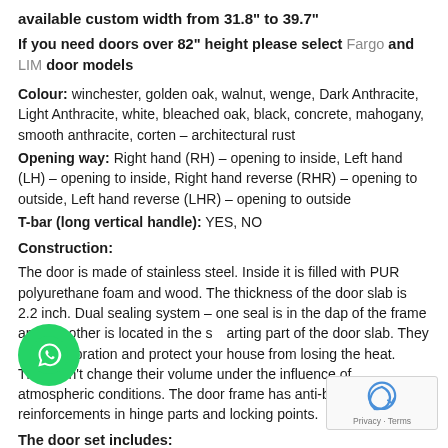available custom width from 31.8" to 39.7"
If you need doors over 82" height please select Fargo and LIM door models
Colour: winchester, golden oak, walnut, wenge, Dark Anthracite, Light Anthracite, white, bleached oak, black, concrete, mahogany, smooth anthracite, corten – architectural rust
Opening way: Right hand (RH) – opening to inside, Left hand (LH) – opening to inside, Right hand reverse (RHR) – opening to outside, Left hand reverse (LHR) – opening to outside
T-bar (long vertical handle): YES, NO
Construction:
The door is made of stainless steel. Inside it is filled with PUR polyurethane foam and wood. The thickness of the door slab is 2.2 inch. Dual sealing system – one seal is in the dap of the frame and the other is located in the sealing part of the door slab. They reduce vibration and protect your house from losing the heat. They don't change their volume under the influence of atmospheric conditions. The door frame has anti-burglar reinforcements in hinge parts and locking points.
The door set includes: